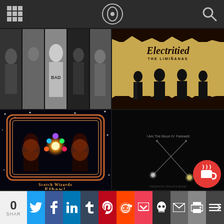[Figure (screenshot): App navigation bar with grid menu icon, circular shield/headphone logo, and search icon on dark background]
[Figure (photo): Black and white collage of multiple bands/musicians in vertical strips]
[Figure (photo): Album cover: Electritied by The Limiñanas - tan/cream background with four figures in black standing, stylized torn paper text]
[Figure (photo): Album cover: Scotch Wizards - dark psychedelic retro image with mirrored figures and colorful lights]
[Figure (photo): Album cover: I Am The Moon - minimalist black cover with two crossing lines/pendulums with glowing ends and small text]
[Figure (screenshot): Social share bar showing 0 shares with Twitter, Facebook, LinkedIn, Tumblr, Pinterest, Reddit, Pocket, Skull, Email, Print, More buttons and a red coffee/support button overlay]